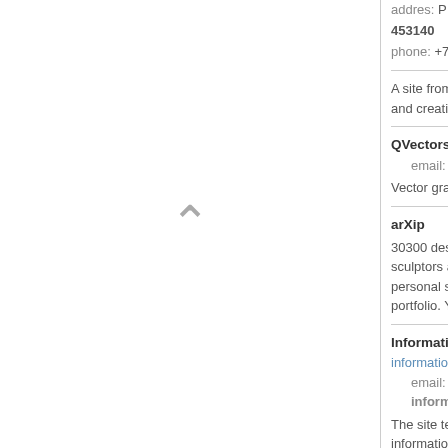addres: P... 453140
phone: +7...
A site from c... and creativity...
QVectors - f...
email: for...
Vector graph...
arXip
30300 desig... sculptors an... personal site... portfolio. You...
Informationis... informationis...
email: informatio...
The site teac... information s...